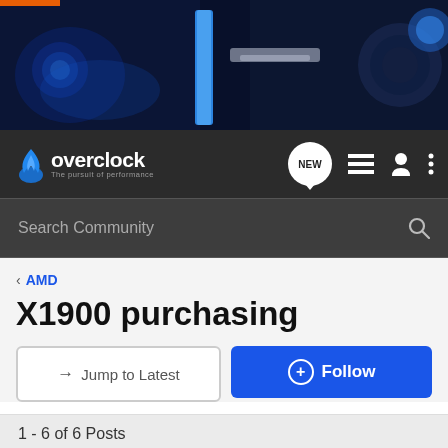[Figure (photo): Banner image showing PC water cooling hardware with blue lighting and components]
overclock - The pursuit of performance - NEW - Search Community
X1900 purchasing
Jump to Latest | Follow
1 - 6 of 6 Posts
ATi · Registered
Joined Sep 4, 2005 · 122 Posts